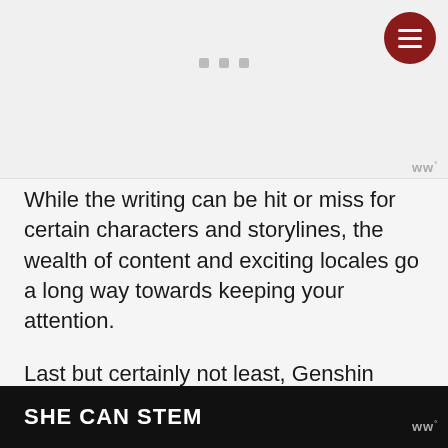[Figure (screenshot): Top section showing a partially loaded or placeholder image area with three gray square dots centered at top, a dark red circular hamburger menu button in the upper right corner, and a Wattpad watermark logo at the lower right of the image area.]
While the writing can be hit or miss for certain characters and storylines, the wealth of content and exciting locales go a long way towards keeping your attention.
Last but certainly not least, Genshin Impact supports crossplay between PC, console, and mobile, making it a
[Figure (screenshot): Dark banner overlay at the bottom of the page with bold white uppercase text reading SHE CAN STEM and a Wattpad watermark at the right side.]